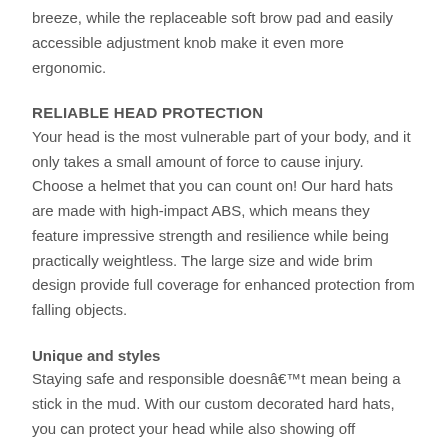breeze, while the replaceable soft brow pad and easily accessible adjustment knob make it even more ergonomic.
RELIABLE HEAD PROTECTION
Your head is the most vulnerable part of your body, and it only takes a small amount of force to cause injury. Choose a helmet that you can count on! Our hard hats are made with high-impact ABS, which means they feature impressive strength and resilience while being practically weightless. The large size and wide brim design provide full coverage for enhanced protection from falling objects.
Unique and styles
Staying safe and responsible doesnâ€™t mean being a stick in the mud. With our custom decorated hard hats, you can protect your head while also showing off